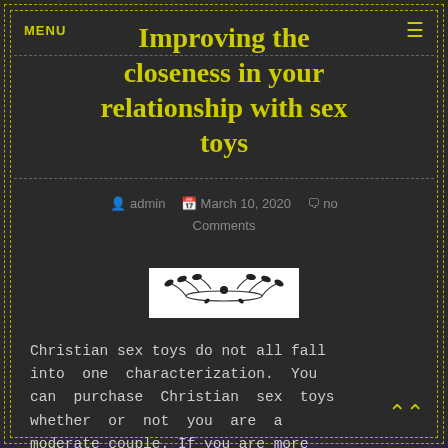MENU
Improving the closeness in your relationship with sex toys
admin  March 10, 2020  no Comments
[Figure (illustration): Decorative floral/botanical divider ornament on white background]
Christian sex toys do not all fall into one characterization. You can purchase Christian sex toys whether or not you are a moderate couple. If you are more adventurism you can look out different, more enjoyment driven